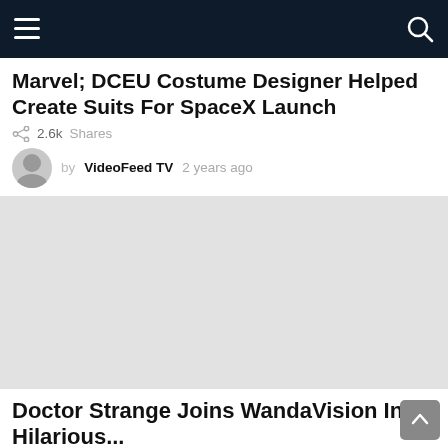Navigation bar with menu and search icons
Marvel; DCEU Costume Designer Helped Create Suits For SpaceX Launch
2.6k Shares
by VideoFeed TV  2 years ago
[Figure (photo): Large grey placeholder image area for article]
Doctor Strange Joins WandaVision In A Hilarious...